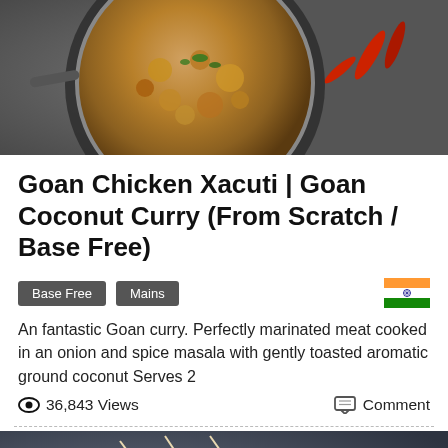[Figure (photo): Overhead photo of a pan with Goan Chicken Xacuti curry — golden-brown spiced meat with green herbs and red chillies on the side]
Goan Chicken Xacuti | Goan Coconut Curry (From Scratch / Base Free)
Base Free  Mains  [Indian flag]
An fantastic Goan curry. Perfectly marinated meat cooked in an onion and spice masala with gently toasted aromatic ground coconut Serves 2
36,843 Views   Comment
[Figure (photo): Photo of red marinated meat or paneer cubes on skewers on a dark stone surface with orange garnish]